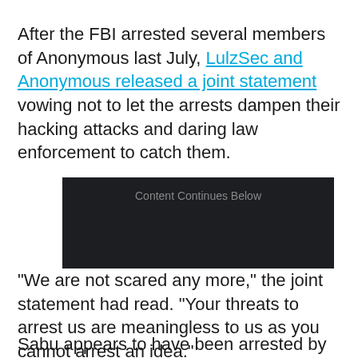After the FBI arrested several members of Anonymous last July, LulzSec and Anonymous released a joint statement vowing not to let the arrests dampen their hacking attacks and daring law enforcement to catch them.
[Figure (other): Dark advertisement placeholder box with text 'Content Continues Below']
"We are not scared any more," the joint statement had read. "Your threats to arrest us are meaningless to us as you cannot arrest an idea."
Sabu appears to have been arrested by the FBI